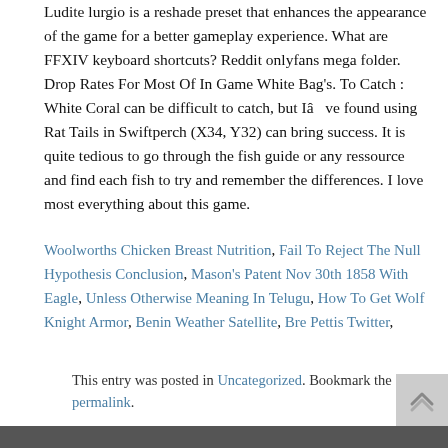Ludite lurgio is a reshade preset that enhances the appearance of the game for a better gameplay experience. What are FFXIV keyboard shortcuts? Reddit onlyfans mega folder. Drop Rates For Most Of In Game White Bag's. To Catch : White Coral can be difficult to catch, but Iâve found using Rat Tails in Swiftperch (X34, Y32) can bring success. It is quite tedious to go through the fish guide or any ressource and find each fish to try and remember the differences. I love most everything about this game.
Woolworths Chicken Breast Nutrition, Fail To Reject The Null Hypothesis Conclusion, Mason's Patent Nov 30th 1858 With Eagle, Unless Otherwise Meaning In Telugu, How To Get Wolf Knight Armor, Benin Weather Satellite, Bre Pettis Twitter,
This entry was posted in Uncategorized. Bookmark the permalink.